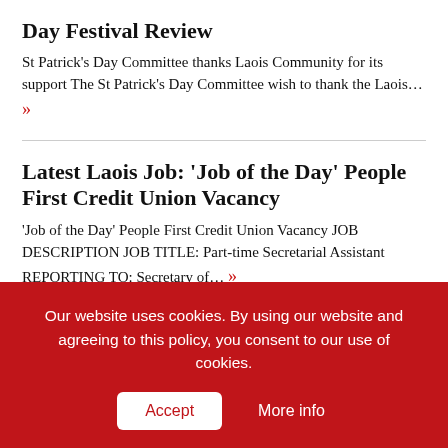Day Festival Review
St Patrick's Day Committee thanks Laois Community for its support The St Patrick's Day Committee wish to thank the Laois… »
Latest Laois Job: 'Job of the Day' People First Credit Union Vacancy
'Job of the Day' People First Credit Union Vacancy JOB DESCRIPTION JOB TITLE: Part-time Secretarial Assistant REPORTING TO: Secretary of… »
Latest Laois Event: St Patrick's …
Our website uses cookies. By using our website and agreeing to this policy, you consent to our use of cookies.